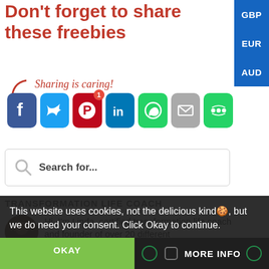Don't forget to share these freebies
[Figure (infographic): Sharing is caring! text with arrow and social share buttons: Facebook, Twitter, Pinterest (with badge 1), LinkedIn, WhatsApp, Email, More]
[Figure (screenshot): Search bar with placeholder text 'Search for...']
TRANSFORMATION LIFE COACH
Hi, I'm Linda, certified transformation life coach and founder of over 20 different
This website uses cookies, not the delicious kind🍪, but we do need your consent. Click Okay to continue.
OKAY
MORE INFO